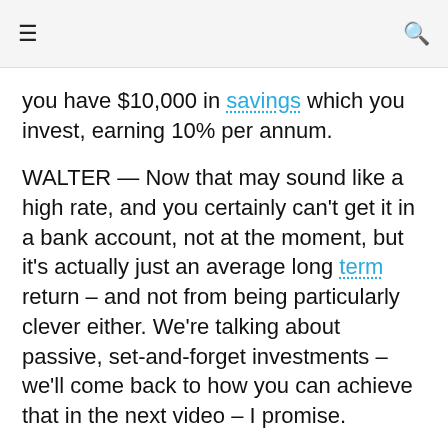≡  🔍
you have $10,000 in savings which you invest, earning 10% per annum.
WALTER — Now that may sound like a high rate, and you certainly can't get it in a bank account, not at the moment, but it's actually just an average long term return – and not from being particularly clever either. We're talking about passive, set-and-forget investments – we'll come back to how you can achieve that in the next video – I promise.
LISA — Okay so, back to simple interest for